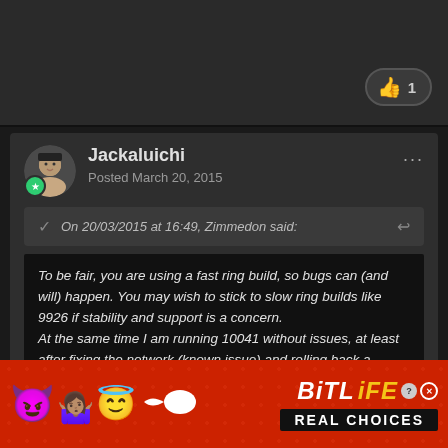[Figure (screenshot): Top dark post bar with a thumbs up like badge showing count of 1]
Jackaluichi
Posted March 20, 2015
On 20/03/2015 at 16:49, Zimmedon said:
To be fair, you are using a fast ring build, so bugs can (and will) happen. You may wish to stick to slow ring builds like 9926 if stability and support is a concern.
At the same time I am running 10041 without issues, at least after fixing the network (known issue) and rolling back a graphics driver which causes my R9 290 to run at unstable clock speeds (though not exclusive to 10041).
[Figure (infographic): BitLife advertisement banner with emoji characters (devil, woman, angel), sperm emoji, BitLife logo and REAL CHOICES tagline on red background]